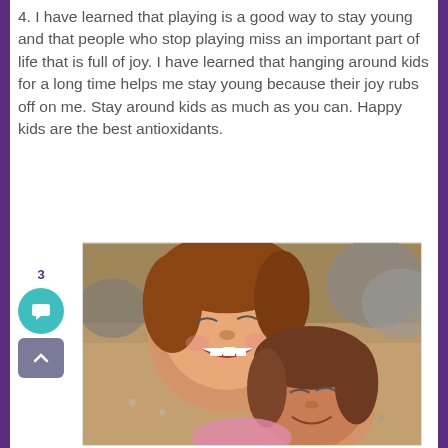4. I have learned that playing is a good way to stay young and that people who stop playing miss an important part of life that is full of joy. I have learned that hanging around kids for a long time helps me stay young because their joy rubs off on me. Stay around kids as much as you can. Happy kids are the best antioxidants.
[Figure (photo): Two young girls laughing and lying on sand at a beach, heads together, eyes squinted with joy]